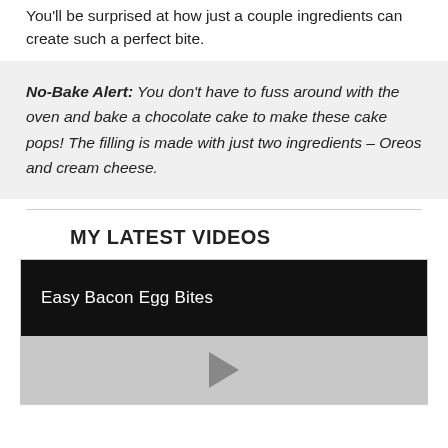You'll be surprised at how just a couple ingredients can create such a perfect bite.
No-Bake Alert: You don't have to fuss around with the oven and bake a chocolate cake to make these cake pops! The filling is made with just two ingredients – Oreos and cream cheese.
MY LATEST VIDEOS
[Figure (screenshot): Video thumbnail with black title bar reading 'Easy Bacon Egg Bites' and gray player area with a play button triangle]